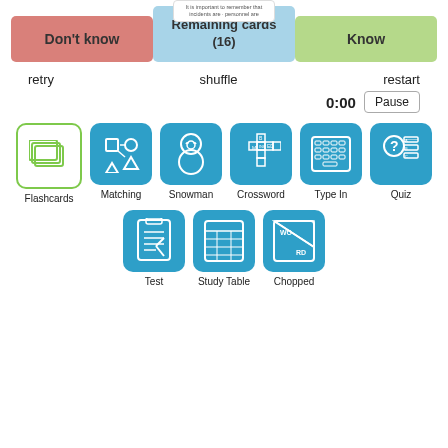[Figure (screenshot): Flashcard study interface with Don't know, Remaining cards (16), and Know buttons at top]
retry
shuffle
restart
0:00
Pause
Flashcards
Matching
Snowman
Crossword
Type In
Quiz
Test
Study Table
Chopped